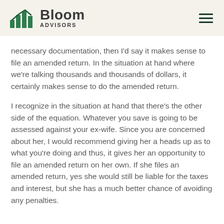Bloom Advisors
necessary documentation, then I'd say it makes sense to file an amended return. In the situation at hand where we're talking thousands and thousands of dollars, it certainly makes sense to do the amended return.
I recognize in the situation at hand that there's the other side of the equation. Whatever you save is going to be assessed against your ex-wife. Since you are concerned about her, I would recommend giving her a heads up as to what you're doing and thus, it gives her an opportunity to file an amended return on her own. If she files an amended return, yes she would still be liable for the taxes and interest, but she has a much better chance of avoiding any penalties.